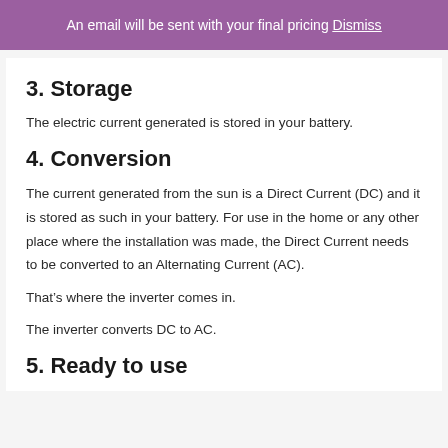An email will be sent with your final pricing Dismiss
3. Storage
The electric current generated is stored in your battery.
4. Conversion
The current generated from the sun is a Direct Current (DC) and it is stored as such in your battery. For use in the home or any other place where the installation was made, the Direct Current needs to be converted to an Alternating Current (AC).
That’s where the inverter comes in.
The inverter converts DC to AC.
5. Ready to use